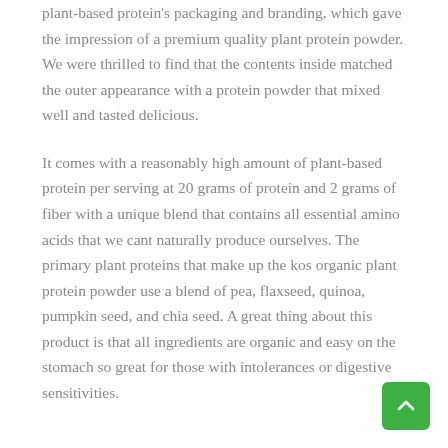plant-based protein's packaging and branding, which gave the impression of a premium quality plant protein powder. We were thrilled to find that the contents inside matched the outer appearance with a protein powder that mixed well and tasted delicious.
It comes with a reasonably high amount of plant-based protein per serving at 20 grams of protein and 2 grams of fiber with a unique blend that contains all essential amino acids that we cant naturally produce ourselves. The primary plant proteins that make up the kos organic plant protein powder use a blend of pea, flaxseed, quinoa, pumpkin seed, and chia seed. A great thing about this product is that all ingredients are organic and easy on the stomach so great for those with intolerances or digestive sensitivities.